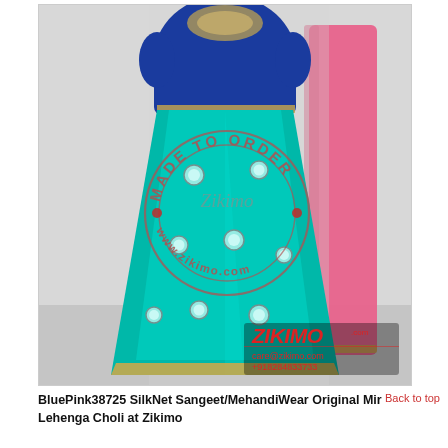[Figure (photo): Product photo of a woman wearing a BluePink SilkNet Sangeet/MehandiWear lehenga choli: royal blue embroidered blouse, teal/turquoise skirt with mirror embellishments and gold border, pink dupatta. Image has a circular 'MADE TO ORDER' watermark stamp with 'www.zikimo.com' text, and a Zikimo logo with contact details (care@zikimo.com, +918284833733) in bottom right corner.]
BluePink38725 SilkNet Sangeet/MehandiWear Original Mir Lehenga Choli at Zikimo
Back to top